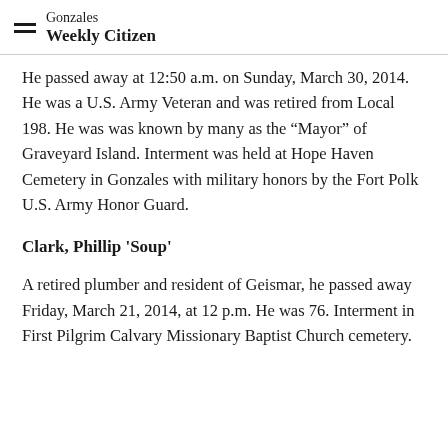Gonzales Weekly Citizen
He passed away at 12:50 a.m. on Sunday, March 30, 2014. He was a U.S. Army Veteran and was retired from Local 198. He was was known by many as the “Mayor” of Graveyard Island. Interment was held at Hope Haven Cemetery in Gonzales with military honors by the Fort Polk U.S. Army Honor Guard.
Clark, Phillip 'Soup'
A retired plumber and resident of Geismar, he passed away Friday, March 21, 2014, at 12 p.m. He was 76. Interment in First Pilgrim Calvary Missionary Baptist Church cemetery.